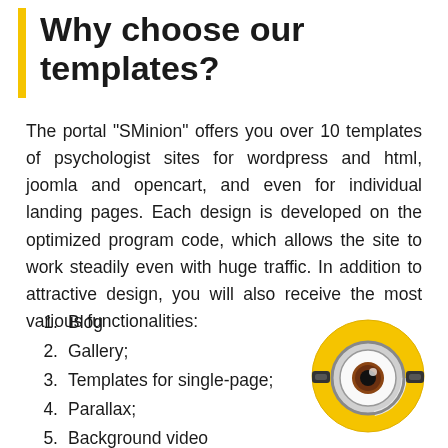Why choose our templates?
The portal "SMinion" offers you over 10 templates of psychologist sites for wordpress and html, joomla and opencart, and even for individual landing pages. Each design is developed on the optimized program code, which allows the site to work steadily even with huge traffic. In addition to attractive design, you will also receive the most various functionalities:
1. Blog
2. Gallery;
3. Templates for single-page;
4. Parallax;
5. Background video
[Figure (illustration): Minion character eye — a circular yellow disc with a large goggle eye containing a brown iris, metallic goggle frame, and black strap clips on each side.]